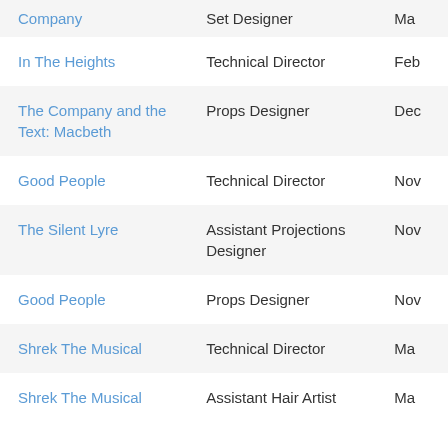| Production | Role | Date |
| --- | --- | --- |
| Company | Set Designer | Ma… |
| In The Heights | Technical Director | Feb… |
| The Company and the Text: Macbeth | Props Designer | Dec… |
| Good People | Technical Director | Nov… |
| The Silent Lyre | Assistant Projections Designer | Nov… |
| Good People | Props Designer | Nov… |
| Shrek The Musical | Technical Director | Ma… |
| Shrek The Musical | Assistant Hair Artist | Ma… |